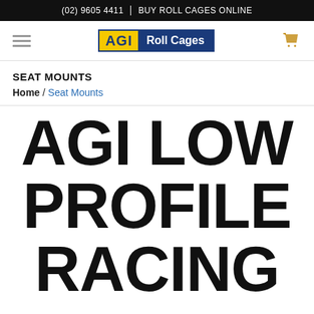(02) 9605 4411 | BUY ROLL CAGES ONLINE
[Figure (logo): AGI Roll Cages logo with yellow AGI badge and blue Roll Cages text]
SEAT MOUNTS
Home / Seat Mounts
AGI LOW PROFILE RACING